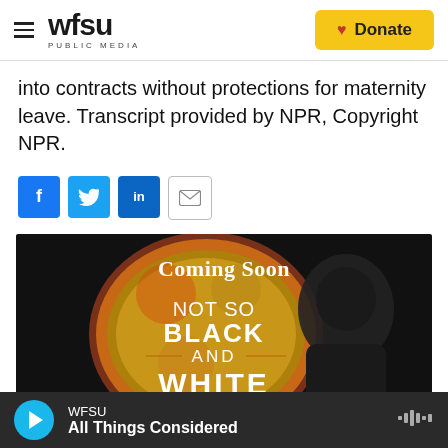WFSU PUBLIC MEDIA | Donate
into contracts without protections for maternity leave. Transcript provided by NPR, Copyright NPR.
[Figure (other): Social sharing icons: Facebook, Twitter, LinkedIn, Email]
[Figure (illustration): Coming Soon promotional image for 'Not So Black and White' podcast, showing colorful speech bubble silhouette against dark background]
WFSU | All Things Considered (audio player)